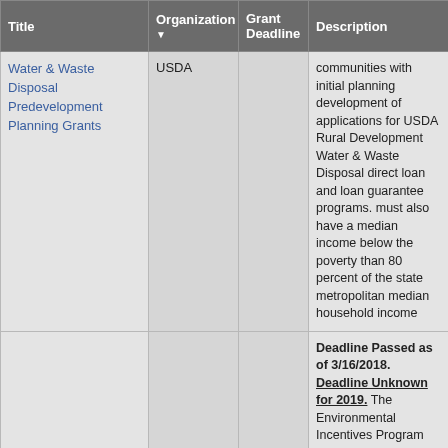| Title | Organization | Grant Deadline | Description |
| --- | --- | --- | --- |
| Water & Waste Disposal Predevelopment Planning Grants | USDA |  | communities with initial planning development of applications for USDA Rural Development Water & Waste Disposal direct loan and loan guarantee programs. must also have a median income below the poverty than 80 percent of the state metropolitan median household income |
| Oregon |  |  | Deadline Passed as of 3/16/2018. Deadline Unknown for 2019. The Environmental Incentives Program (EQIP) is a voluntary program that provides financial and technical assistance to agricultural producers to plan and implement conservation practices that improve soil, water, plant, animal, air and related natural resources on agricultural and non-industrial private fo... |